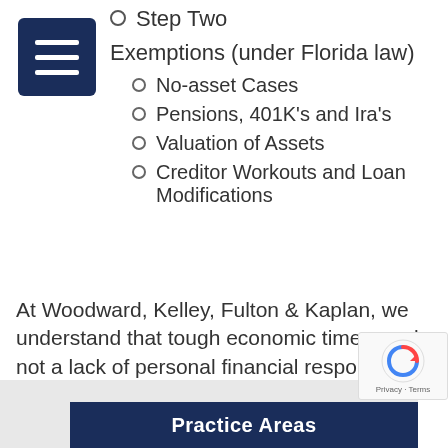Step Two
Exemptions (under Florida law)
No-asset Cases
Pensions, 401K's and Ira's
Valuation of Assets
Creditor Workouts and Loan Modifications
At Woodward, Kelley, Fulton & Kaplan, we understand that tough economic times, and not a lack of personal financial responsibility, cause people to file for bankruptcy relief.
Practice Areas